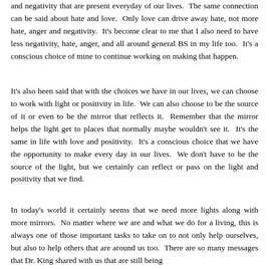and negativity that are present everyday of our lives.  The same connection can be said about hate and love.  Only love can drive away hate, not more hate, anger and negativity.  It's become clear to me that I also need to have less negativity, hate, anger, and all around general BS in my life too.  It's a conscious choice of mine to continue working on making that happen.
It's also been said that with the choices we have in our lives, we can choose to work with light or positivity in life.  We can also choose to be the source of it or even to be the mirror that reflects it.  Remember that the mirror helps the light get to places that normally maybe wouldn't see it.  It's the same in life with love and positivity.  It's a conscious choice that we have the opportunity to make every day in our lives.  We don't have to be the source of the light, but we certainly can reflect or pass on the light and positivity that we find.
In today's world it certainly seems that we need more lights along with more mirrors.  No matter where we are and what we do for a living, this is always one of those important tasks to take on to not only help ourselves, but also to help others that are around us too.  There are so many messages that Dr. King shared with us that are still being